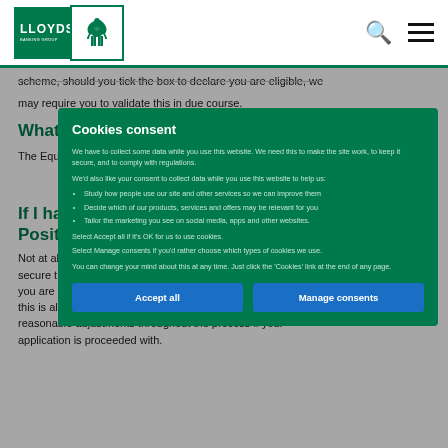Lloyds Banking Group
scheme, should you tick the box to declare you are eligible, we may require you to validate this in due course.
What do we mean by disability?
The Equality Act 2010 defines a disabled person as someone who has a physical or mental impairment that has a substantial and adverse long-term effect (lasting 12 months or more) on normal day to day activities.
If I have a disability, do I have to apply under the Positive Action scheme?
Not at all. If you wish not to do so, you can still choose to secure the benefits associated with the scheme. Of course, if you are very welcome to decline to opt in to the scheme and this is also fine, as we are still committed to making reasonable adjustments throughout the process if your application is proceeded with.
[Figure (screenshot): Cookies consent modal overlay on Lloyds Banking Group webpage. The modal has a dark green background with white/light green text. Title: 'Cookies consent'. Body text explains data collection for site functionality and optional consent for analytics/marketing. Three bullet points: Study how people use our site and other services so we can improve them; Decide which of our products, services and offers may be relevant for you; Tailor the marketing you see on social media, apps and other websites. Footer text about managing consents. Two blue buttons: 'Accept all' and 'Manage consents'.]